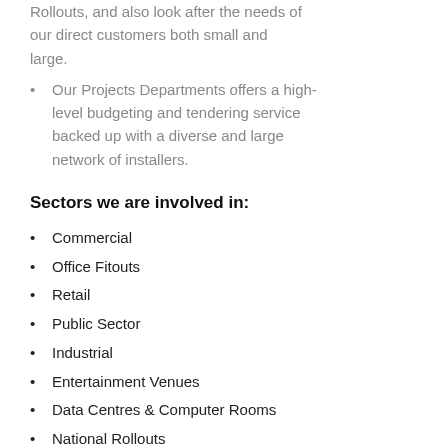Rollouts, and also look after the needs of our direct customers both small and large.
Our Projects Departments offers a high-level budgeting and tendering service backed up with a diverse and large network of installers.
Sectors we are involved in:
Commercial
Office Fitouts
Retail
Public Sector
Industrial
Entertainment Venues
Data Centres & Computer Rooms
National Rollouts
Large help desk service providers